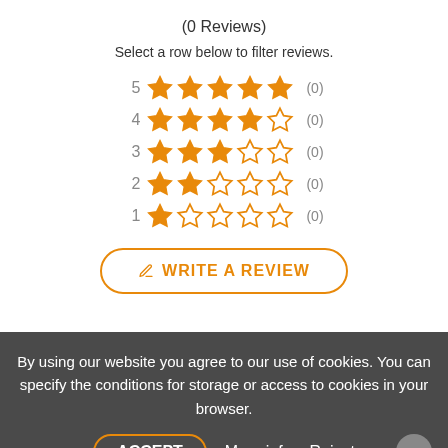(0 Reviews)
Select a row below to filter reviews.
[Figure (infographic): Star rating rows: 5 stars (0), 4 stars (0), 3 stars (0), 2 stars (0), 1 star (0)]
WRITE A REVIEW
By using our website you agree to our use of cookies. You can specify the conditions for storage or access to cookies in your browser.
ACCEPT   More info   Reject
Sort By   Created Date